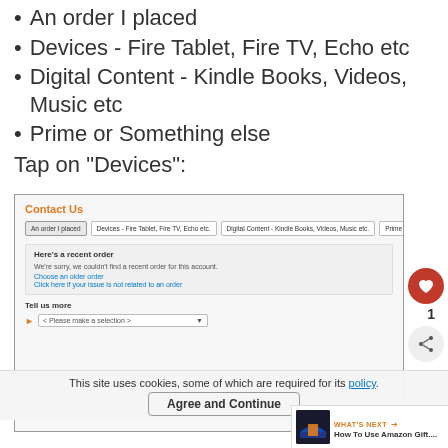An order I placed
Devices - Fire Tablet, Fire TV, Echo etc
Digital Content - Kindle Books, Videos, Music etc
Prime or Something else
Tap on "Devices":
[Figure (screenshot): Amazon Contact Us page screenshot showing tabs: An order I placed, Devices - Fire Tablet, Fire TV, Echo etc, Digital Content - Kindle Books, Videos, Music etc, Prime or Something else. Below is a 'Here's a recent order' section with sorry message and links, then 'Tell us more' dropdown.]
This site uses cookies, some of which are required for its policy.
Agree and Continue